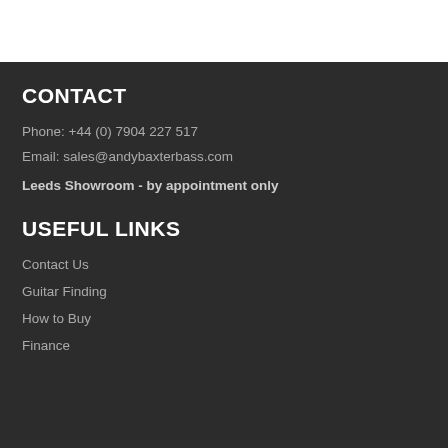CONTACT
Phone: +44 (0) 7904 227 517
Email: sales@andybaxterbass.com
Leeds Showroom - by appointment only
USEFUL LINKS
Contact Us
Guitar Finding
How to Buy
Finance